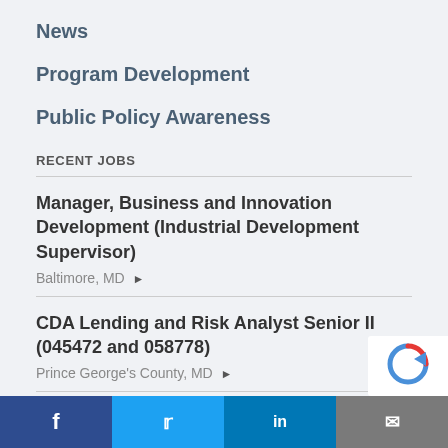News
Program Development
Public Policy Awareness
RECENT JOBS
Manager, Business and Innovation Development (Industrial Development Supervisor)
Baltimore, MD ▶
CDA Lending and Risk Analyst Senior II (045472 and 058778)
Prince George's County, MD ▶
Facebook | Twitter | LinkedIn | Email